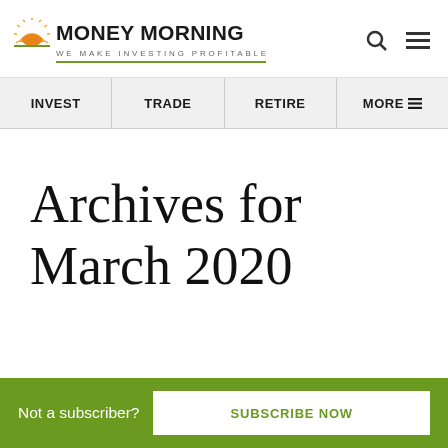MONEY MORNING — WE MAKE INVESTING PROFITABLE
INVEST | TRADE | RETIRE | MORE
Archives for March 2020
Not a subscriber?
SUBSCRIBE NOW